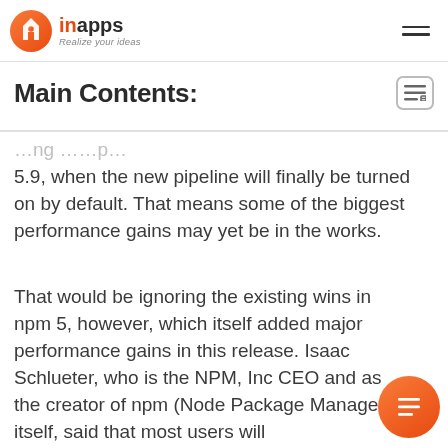inapps — Realize your ideas
Main Contents:
5.9, when the new pipeline will finally be turned on by default. That means some of the biggest performance gains may yet be in the works.
That would be ignoring the existing wins in npm 5, however, which itself added major performance gains in this release. Isaac Schlueter, who is the NPM, Inc CEO and as the creator of npm (Node Package Manager) itself, said that most users will